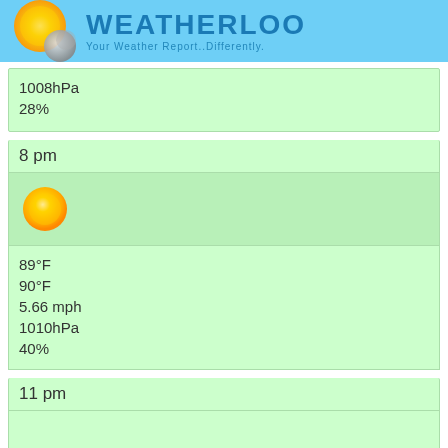WEATHERLOO - Your Weather Report..Differently.
1008hPa
28%
8 pm
[Figure (illustration): Sun icon - yellow glowing circle representing sunny weather]
89°F
90°F
5.66 mph
1010hPa
40%
11 pm
[Figure (illustration): Moon icon - grey full moon representing night weather]